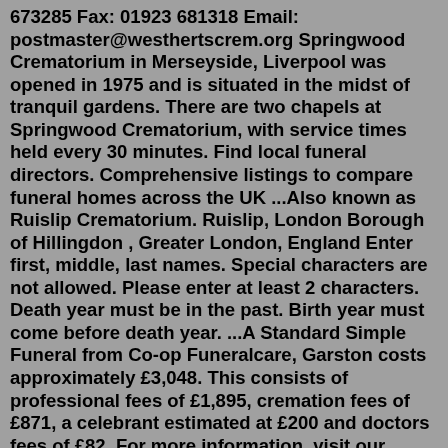673285 Fax: 01923 681318 Email: postmaster@westhertscrem.org Springwood Crematorium in Merseyside, Liverpool was opened in 1975 and is situated in the midst of tranquil gardens. There are two chapels at Springwood Crematorium, with service times held every 30 minutes. Find local funeral directors. Comprehensive listings to compare funeral homes across the UK ...Also known as Ruislip Crematorium. Ruislip, London Borough of Hillingdon , Greater London, England Enter first, middle, last names. Special characters are not allowed. Please enter at least 2 characters. Death year must be in the past. Birth year must come before death year. ...A Standard Simple Funeral from Co-op Funeralcare, Garston costs approximately £3,048. This consists of professional fees of £1,895, cremation fees of £871, a celebrant estimated at £200 and doctors fees of £82. For more information, visit our funeral pricing guide. S pringwood Crematorium is situated opposite the cemetery on Springwood